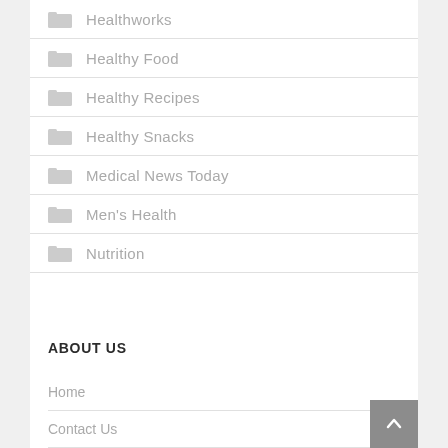Healthworks
Healthy Food
Healthy Recipes
Healthy Snacks
Medical News Today
Men's Health
Nutrition
ABOUT US
Home
Contact Us